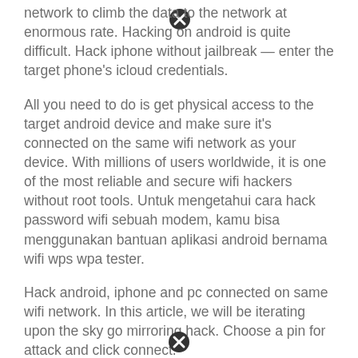network to climb the data to the network at enormous rate. Hacking on android is quite difficult. Hack iphone without jailbreak — enter the target phone's icloud credentials.
All you need to do is get physical access to the target android device and make sure it's connected on the same wifi network as your device. With millions of users worldwide, it is one of the most reliable and secure wifi hackers without root tools. Untuk mengetahui cara hack password wifi sebuah modem, kamu bisa menggunakan bantuan aplikasi android bernama wifi wps wpa tester.
Hack android, iphone and pc connected on same wifi network. In this article, we will be iterating upon the sky go mirroring hack. Choose a pin for attack and click connect.